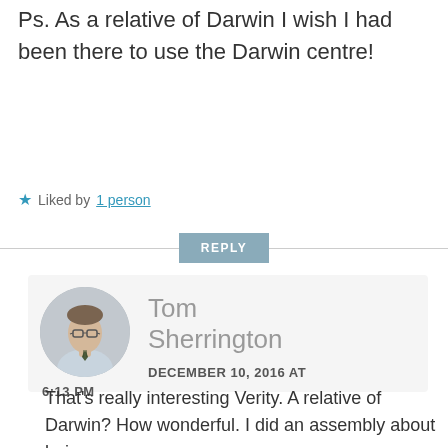Ps. As a relative of Darwin I wish I had been there to use the Darwin centre!
Liked by 1 person
REPLY
[Figure (photo): Circular profile photo of Tom Sherrington, a man wearing glasses and a striped tie, light shirt, grey background]
Tom Sherrington
DECEMBER 10, 2016 AT 6:13 PM
That's really interesting Verity. A relative of Darwin? How wonderful. I did an assembly about being an